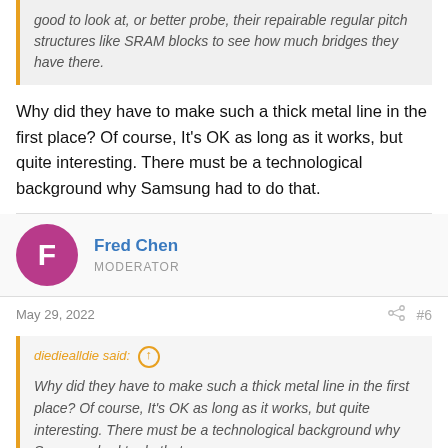good to look at, or better probe, their repairable regular pitch structures like SRAM blocks to see how much bridges they have there.
Why did they have to make such a thick metal line in the first place? Of course, It's OK as long as it works, but quite interesting. There must be a technological background why Samsung had to do that.
Fred Chen
MODERATOR
May 29, 2022
#6
diediealldie said:
Why did they have to make such a thick metal line in the first place? Of course, It's OK as long as it works, but quite interesting. There must be a technological background why Samsung had to do that.